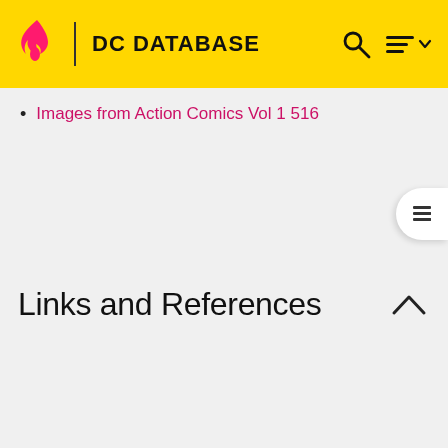DC DATABASE
Images from Action Comics Vol 1 516
Links and References